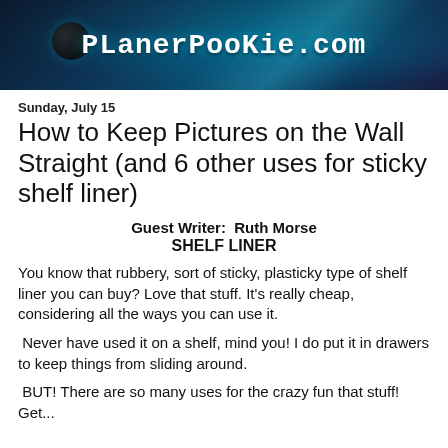PLanerPooKie.com
Sunday, July 15
How to Keep Pictures on the Wall Straight (and 6 other uses for sticky shelf liner)
Guest Writer:  Ruth Morse
SHELF LINER
You know that rubbery, sort of sticky, plasticky type of shelf liner you can buy? Love that stuff. It's really cheap, considering all the ways you can use it.
Never have used it on a shelf, mind you! I do put it in drawers to keep things from sliding around.
BUT! There are so many uses for the crazy fun that stuff! Get...